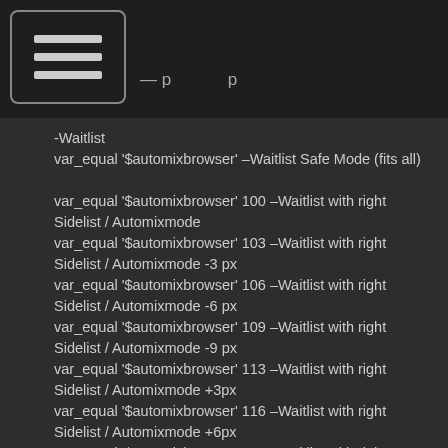-Waitlist
var_equal '$automixbrowser' –Waitlist Safe Mode (fits all)

var_equal '$automixbrowser' 100 –Waitlist with right Sidelist / Automixmode
var_equal '$automixbrowser' 103 –Waitlist with right Sidelist / Automixmode -3 px
var_equal '$automixbrowser' 106 –Waitlist with right Sidelist / Automixmode -6 px
var_equal '$automixbrowser' 109 –Waitlist with right Sidelist / Automixmode -9 px
var_equal '$automixbrowser' 113 –Waitlist with right Sidelist / Automixmode +3px
var_equal '$automixbrowser' 116 –Waitlist with right Sidelist / Automixmode +6px
var_equal '$automixbrowser' 119 –Waitlist with right